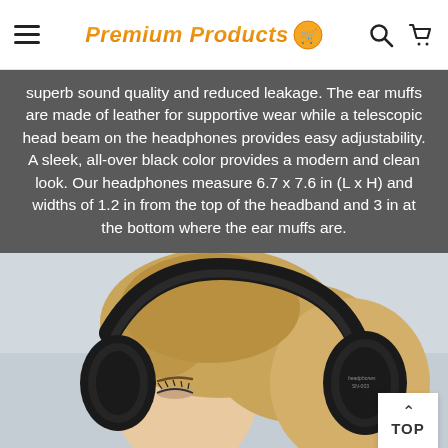Premium Products (logo with hamburger menu, search, and cart icons)
superb sound quality and reduced leakage. The ear muffs are made of leather for supportive wear while a telescopic head beam on the headphones provides easy adjustability. A sleek, all-over black color provides a modern and clean look. Our headphones measure 6.7 x 7.6 in (L x H) and widths of 1.2 in from the top of the headband and 3 in at the bottom where the ear muffs are.
[Figure (photo): A woman wearing black over-ear headphones, side profile view, blonde hair, light background. The headphones have a label reading 'headphones' on them.]